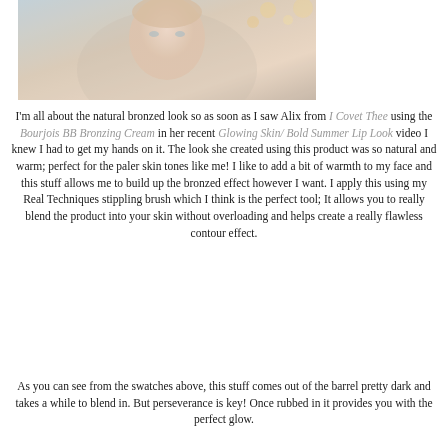[Figure (photo): Portrait photo of a young woman with light skin, blue/grey eyes, and light hair pulled back, wearing a striped top, photographed against a soft blurred background with warm bokeh lights]
I'm all about the natural bronzed look so as soon as I saw Alix from I Covet Thee using the Bourjois BB Bronzing Cream in her recent Glowing Skin/ Bold Summer Lip Look video I knew I had to get my hands on it. The look she created using this product was so natural and warm; perfect for the paler skin tones like me! I like to add a bit of warmth to my face and this stuff allows me to build up the bronzed effect however I want. I apply this using my Real Techniques stippling brush which I think is the perfect tool; It allows you to really blend the product into your skin without overloading and helps create a really flawless contour effect.
As you can see from the swatches above, this stuff comes out of the barrel pretty dark and takes a while to blend in. But perseverance is key! Once rubbed in it provides you with the perfect glow.